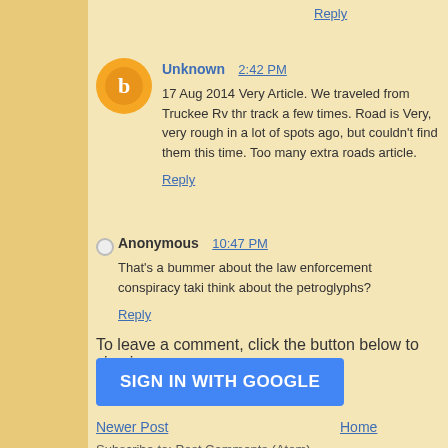Reply
Unknown  2:42 PM
17 Aug 2014 Very Article. We traveled from Truckee Rv thru track a few times. Road is Very, very rough in a lot of spots ago, but couldn't find them this time. Too many extra roads article.
Reply
Anonymous  10:47 PM
That's a bummer about the law enforcement conspiracy taki think about the petroglyphs?
Reply
To leave a comment, click the button below to sign i
[Figure (other): SIGN IN WITH GOOGLE button - blue rectangle]
Newer Post
Home
Subscribe to: Post Comments (Atom)